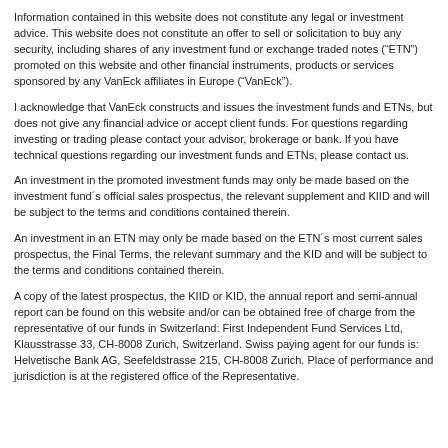Information contained in this website does not constitute any legal or investment advice. This website does not constitute an offer to sell or solicitation to buy any security, including shares of any investment fund or exchange traded notes (“ETN”) promoted on this website and other financial instruments, products or services sponsored by any VanEck affiliates in Europe (“VanEck”).
I acknowledge that VanEck constructs and issues the investment funds and ETNs, but does not give any financial advice or accept client funds. For questions regarding investing or trading please contact your advisor, brokerage or bank. If you have technical questions regarding our investment funds and ETNs, please contact us.
An investment in the promoted investment funds may only be made based on the investment fund´s official sales prospectus, the relevant supplement and KIID and will be subject to the terms and conditions contained therein.
An investment in an ETN may only be made based on the ETN´s most current sales prospectus, the Final Terms, the relevant summary and the KID and will be subject to the terms and conditions contained therein.
A copy of the latest prospectus, the KIID or KID, the annual report and semi-annual report can be found on this website and/or can be obtained free of charge from the representative of our funds in Switzerland: First Independent Fund Services Ltd, Klausstrasse 33, CH-8008 Zurich, Switzerland. Swiss paying agent for our funds is: Helvetische Bank AG, Seefeldstrasse 215, CH-8008 Zurich. Place of performance and jurisdiction is at the registered office of the Representative.